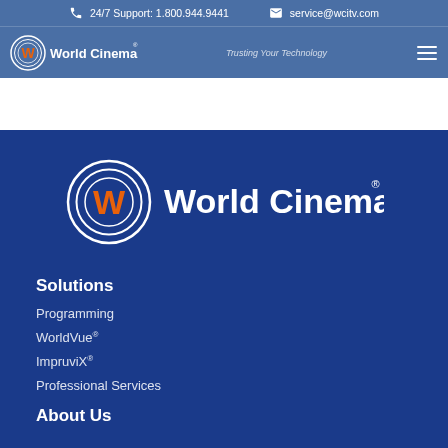24/7 Support: 1.800.944.9441  service@wcitv.com
[Figure (logo): World Cinema logo with circular W emblem and text 'World Cinema', tagline 'Trusting Your Technology' in nav bar]
[Figure (logo): Large World Cinema logo centered on dark blue background, circular W emblem in orange and white with 'World Cinema' text in white]
Solutions
Programming
WorldVue®
ImpruviX®
Professional Services
About Us